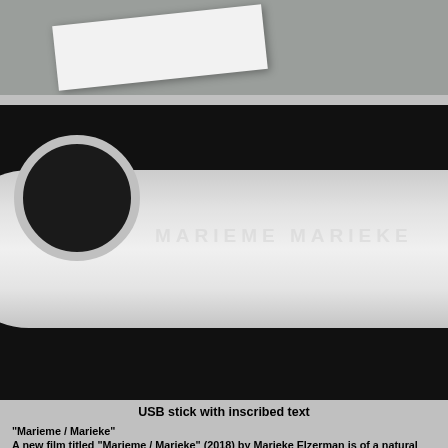[Figure (photo): Top strip showing a gray background with a tilted white card/paper]
[Figure (photo): Close-up photo of a white USB stick with engraved text 'MARIEME MARIEKE' on a black background]
USB stick with inscribed text
"Marieme / Marieke"
A new film titled "Marieme / Marieke" (2018) by Marieke Elzerman is of a natural beauty. The script is elementary: two girls of just no more teener decide to get to know each other better via WhatsApp. One studies and lives in Ghent (Belgium) and the other lives amidst her family in Dakar (Senegal). Both film their direct surrounding in a light-hearted and almost uneasy manner. Marieme is more defiant and expressive, while Marieke is more reflective and aloof. That brings on that one challenges the other to step more into the open and to make selfies. No doubt there are contrasts in what is